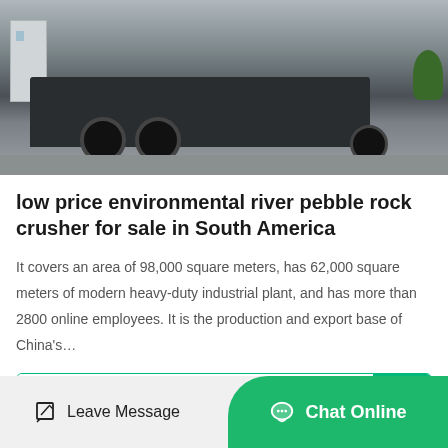[Figure (photo): A heavy-duty low-bed trailer/truck parked on a concrete surface, viewed from the front-left side. A building and greenery are visible in the background.]
low price environmental river pebble rock crusher for sale in South America
It covers an area of 98,000 square meters, has 62,000 square meters of modern heavy-duty industrial plant, and has more than 2800 online employees. It is the production and export base of China's…
Read More
Leave Message   Chat Online